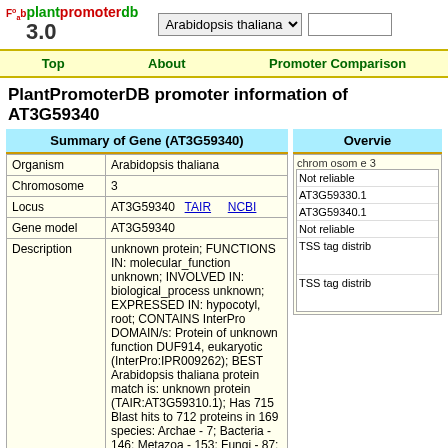plantpromoterdb 3.0 — Arabidopsis thaliana
Top | About | Promoter Comparison
PlantPromoterDB promoter information of AT3G59340
Summary of Gene (AT3G59340)
| Field | Value |
| --- | --- |
| Organism | Arabidopsis thaliana |
| Chromosome | 3 |
| Locus | AT3G59340  TAIR     NCBI |
| Gene model | AT3G59340 |
| Description | unknown protein; FUNCTIONS IN: molecular_function unknown; INVOLVED IN: biological_process unknown; EXPRESSED IN: hypocotyl, root; CONTAINS InterPro DOMAIN/s: Protein of unknown function DUF914, eukaryotic (InterPro:IPR009262); BEST Arabidopsis thaliana protein match is: unknown protein (TAIR:AT3G59310.1); Has 715 Blast hits to 712 proteins in 169 species: Archae - 7; Bacteria - 146; Metazoa - 153; Fungi - 87; Plants - 74; Viruses - 0; Other Eukaryotes - 248 (source: NCBI BLink). |
Overview
chromosome 3
Not reliable
AT3G59330.1
AT3G59340.1
Not reliable
TSS tag distrib
TSS tag distrib
Focused view (chromosome 3: 21931380-21930181)